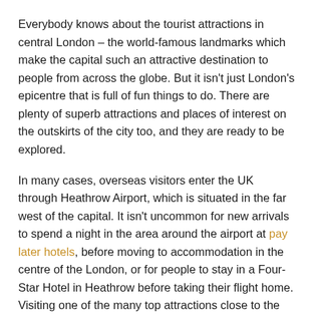Everybody knows about the tourist attractions in central London – the world-famous landmarks which make the capital such an attractive destination to people from across the globe. But it isn't just London's epicentre that is full of fun things to do. There are plenty of superb attractions and places of interest on the outskirts of the city too, and they are ready to be explored.
In many cases, overseas visitors enter the UK through Heathrow Airport, which is situated in the far west of the capital. It isn't uncommon for new arrivals to spend a night in the area around the airport at pay later hotels, before moving to accommodation in the centre of the London, or for people to stay in a Four-Star Hotel in Heathrow before taking their flight home. Visiting one of the many top attractions close to the airport can be a great way to begin a trip to London, or round it off in style.